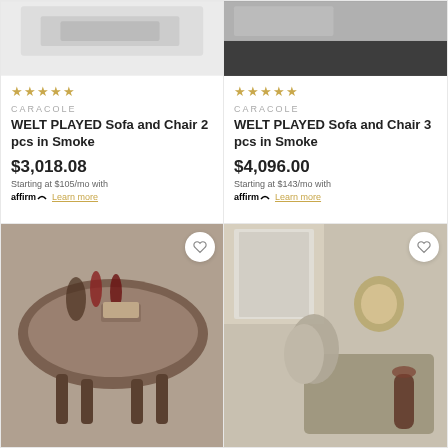[Figure (photo): WELT PLAYED Sofa and Chair 2 pcs in Smoke product image (top)]
★★★★★
CARACOLE
WELT PLAYED Sofa and Chair 2 pcs in Smoke
$3,018.08
Starting at $105/mo with affirm Learn more
[Figure (photo): WELT PLAYED Sofa and Chair 3 pcs in Smoke product image (top)]
★★★★★
CARACOLE
WELT PLAYED Sofa and Chair 3 pcs in Smoke
$4,096.00
Starting at $143/mo with affirm Learn more
[Figure (photo): Ornate dark wood round coffee table with wine glasses and books]
[Figure (photo): Ornate silver/antique sofa with decorative details, globe and wine glass]